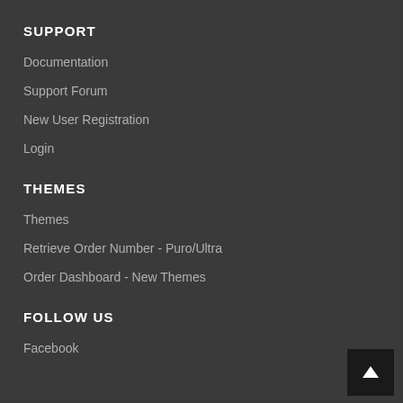SUPPORT
Documentation
Support Forum
New User Registration
Login
THEMES
Themes
Retrieve Order Number - Puro/Ultra
Order Dashboard - New Themes
FOLLOW US
Facebook